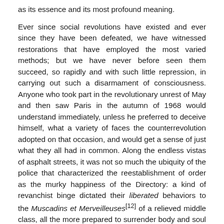as its essence and its most profound meaning.

Ever since social revolutions have existed and ever since they have been defeated, we have witnessed restorations that have employed the most varied methods; but we have never before seen them succeed, so rapidly and with such little repression, in carrying out such a disarmament of consciousness. Anyone who took part in the revolutionary unrest of May and then saw Paris in the autumn of 1968 would understand immediately, unless he preferred to deceive himself, what a variety of faces the counterrevolution adopted on that occasion, and would get a sense of just what they all had in common. Along the endless vistas of asphalt streets, it was not so much the ubiquity of the police that characterized the reestablishment of order as the murky happiness of the Directory: a kind of revanchist binge dictated their liberated behaviors to the Muscadins et Merveilleuses[12] of a relieved middle class, all the more prepared to surrender body and soul to the revolutionary fashion, and especially to that of the liberation of lifestyles, insofar as it had aspired for several years to enjoy a lifestyle that was more in keeping with the various appliances it had been able to acquire. This was the occasion when leftism made its second contribution, this time a positive one, to modernization. But it was first necessary for its most extremist variants in the microbureaucratic imposture to